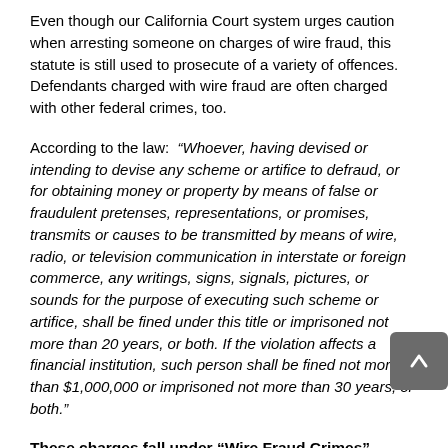Even though our California Court system urges caution when arresting someone on charges of wire fraud, this statute is still used to prosecute of a variety of offences. Defendants charged with wire fraud are often charged with other federal crimes, too.
According to the law:  “Whoever, having devised or intending to devise any scheme or artifice to defraud, or for obtaining money or property by means of false or fraudulent pretenses, representations, or promises, transmits or causes to be transmitted by means of wire, radio, or television communication in interstate or foreign commerce, any writings, signs, signals, pictures, or sounds for the purpose of executing such scheme or artifice, shall be fined under this title or imprisoned not more than 20 years, or both. If the violation affects a financial institution, such person shall be fined not more than $1,000,000 or imprisoned not more than 30 years, or both.”
These charges fall under “Wire Fraud Crimes”
Bail Amounts for Receiving Stolen Property